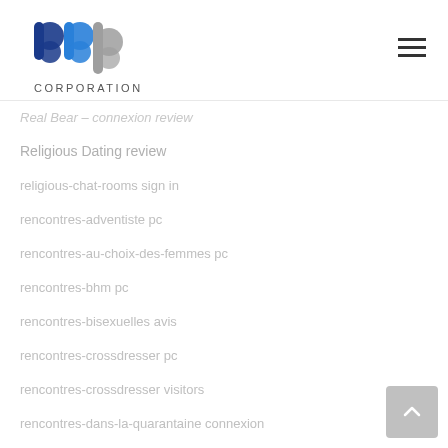BBP Corporation logo and navigation
Real Bear – connexion review
Religious Dating review
religious-chat-rooms sign in
rencontres-adventiste pc
rencontres-au-choix-des-femmes pc
rencontres-bhm pc
rencontres-bisexuelles avis
rencontres-crossdresser pc
rencontres-crossdresser visitors
rencontres-dans-la-quarantaine connexion